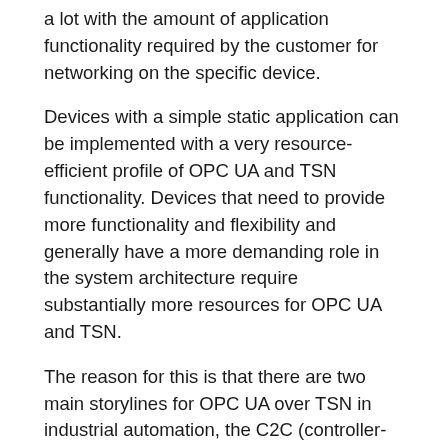a lot with the amount of application functionality required by the customer for networking on the specific device.
Devices with a simple static application can be implemented with a very resource-efficient profile of OPC UA and TSN functionality. Devices that need to provide more functionality and flexibility and generally have a more demanding role in the system architecture require substantially more resources for OPC UA and TSN.
The reason for this is that there are two main storylines for OPC UA over TSN in industrial automation, the C2C (controller-to-controller or machine-to-machine) and C2D (controller-to-device) use cases.
As of today, most of the integrations and evaluations for OPC UA over TSN are focused on the C2C use